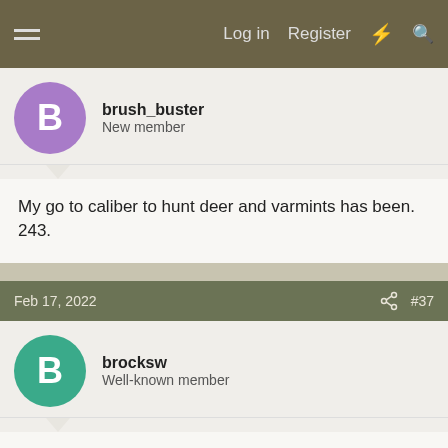Log in | Register
brush_buster
New member
My go to caliber to hunt deer and varmints has been. 243.
Feb 17, 2022 #37
brocksw
Well-known member
This thread is the best version of the internet.
Feb 19, 2022 #38
lifesupport4u
Active member